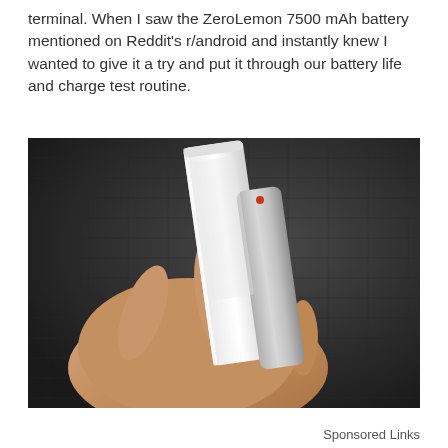terminal. When I saw the ZeroLemon 7500 mAh battery mentioned on Reddit's r/android and instantly knew I wanted to give it a try and put it through our battery life and charge test routine.
[Figure (photo): A hand holding a white smartphone with a thick extended battery case attached to the back, viewed from the side against a dark woven fabric background.]
Sponsored Links